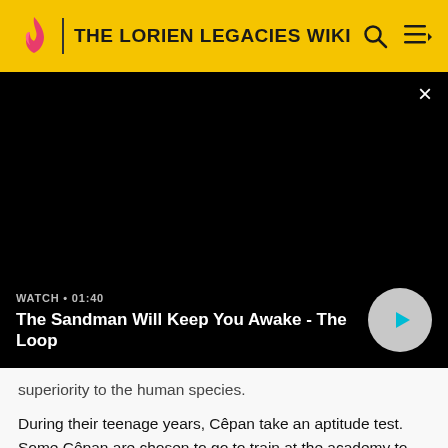THE LORIEN LEGACIES WIKI
[Figure (screenshot): Black video player area with close button (×) in top right. Bottom overlay shows 'WATCH • 01:40' and title 'The Sandman Will Keep YouKeap You Awake - The Loop' with a gray circular play button with cyan triangle.]
superiority to the human species.
During their teenage years, Cêpan take an aptitude test. Some Cêpan are chosen to go to train at the academy to become a Mentor Cêpan, who teach the Garde as children how to control their Legacies. Other Cêpan run the planet